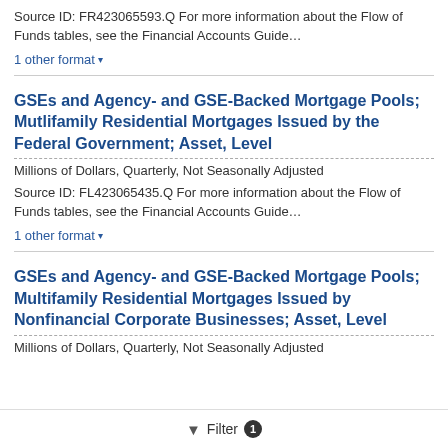Source ID: FR423065593.Q For more information about the Flow of Funds tables, see the Financial Accounts Guide…
1 other format ▾
GSEs and Agency- and GSE-Backed Mortgage Pools; Mutlifamily Residential Mortgages Issued by the Federal Government; Asset, Level
Millions of Dollars, Quarterly, Not Seasonally Adjusted
Source ID: FL423065435.Q For more information about the Flow of Funds tables, see the Financial Accounts Guide…
1 other format ▾
GSEs and Agency- and GSE-Backed Mortgage Pools; Multifamily Residential Mortgages Issued by Nonfinancial Corporate Businesses; Asset, Level
Millions of Dollars, Quarterly, Not Seasonally Adjusted
Filter 1